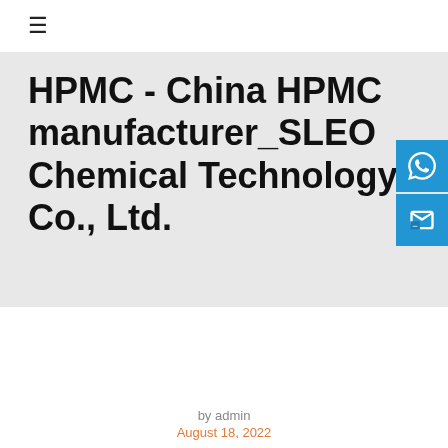≡
HPMC - China HPMC manufacturer_SLEO Chemical Technology Co., Ltd.
by admin
August 18, 2022